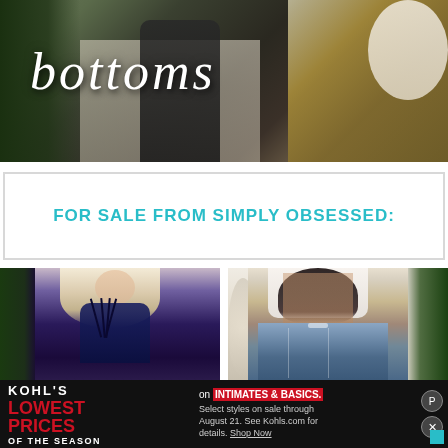[Figure (photo): Fashion photo showing a person wearing black leggings/bottoms with white handwritten-style text overlay reading 'bottoms', surrounded by plants and gold furniture]
FOR SALE FROM SIMPLY OBSESSED:
[Figure (photo): Product photo of a woman with long blonde hair wearing a navy blue lace strappy bralette/bodysuit with crisscross front straps]
[Figure (photo): Product photo of a woman with long dark hair wearing a white top and distressed blue denim jeans, shown from behind]
[Figure (infographic): Kohl's advertisement banner with black background. Text reads: KOHL'S LOWEST PRICES OF THE SEASON on INTIMATES & BASICS. Select styles on sale through August 21. See Kohls.com for details. Shop Now]